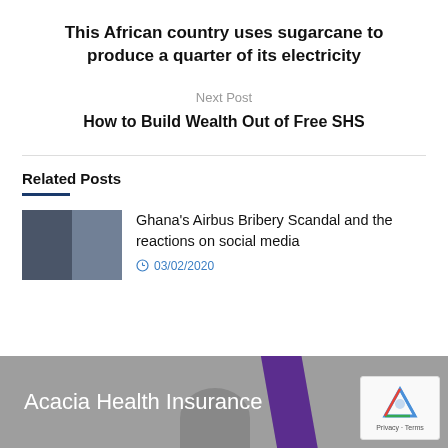This African country uses sugarcane to produce a quarter of its electricity
Next Post
How to Build Wealth Out of Free SHS
Related Posts
[Figure (photo): Two men in formal attire, thumbnail image for related post]
Ghana's Airbus Bribery Scandal and the reactions on social media
03/02/2020
[Figure (infographic): Acacia Health Insurance advertisement banner with purple stripe and partial person image]